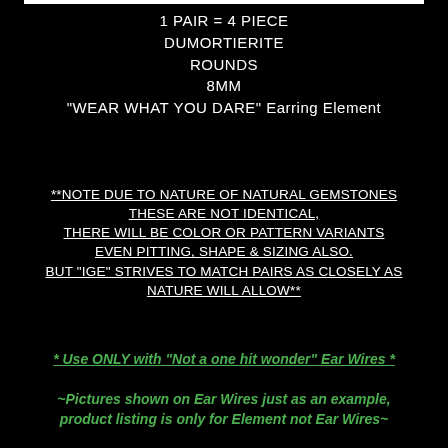1 PAIR = 4 PIECE
DUMORTIERITE
ROUNDS
8MM
"WEAR WHAT YOU DARE" Earring Element
**NOTE DUE TO NATURE OF NATURAL GEMSTONES THESE ARE NOT IDENTICAL, THERE WILL BE COLOR OR PATTERN VARIANTS EVEN PITTING, SHAPE & SIZING ALSO. BUT "IGE" STRIVES TO MATCH PAIRS AS CLOSELY AS NATURE WILL ALLOW**
* Use ONLY with "Not a one hit wonder" Ear Wires *
~Pictures shown on Ear Wires just as an example, product listing is only for Element not Ear Wires~